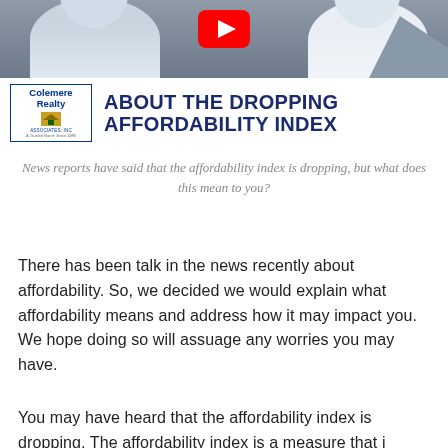[Figure (screenshot): YouTube video thumbnail for Colemere Realty showing two men in shirts with text 'About the Dropping Affordability Index' and the Colemere Realty Associates logo]
News reports have said that the affordability index is dropping, but what does this mean to you?
There has been talk in the news recently about affordability. So, we decided we would explain what affordability means and address how it may impact you. We hope doing so will assuage any worries you may have.
You may have heard that the affordability index is dropping. The affordability index is a measure that i...